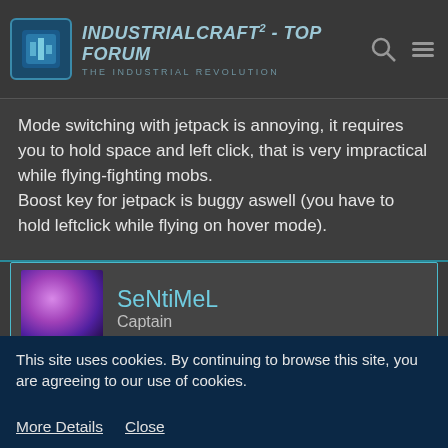IndustrialCraft² - Top Forum - The Industrial Revolution
Mode switching with jetpack is annoying, it requires you to hold space and left click, that is very impractical while flying-fighting mobs.
Boost key for jetpack is buggy aswell (you have to hold leftclick while flying on hover mode).
SeNtiMeL
Captain
Sep 13th 2013
Addon updated !
Changelog of Gravitation Suite 1.0.6
This site uses cookies. By continuing to browse this site, you are agreeing to our use of cookies.
More Details
Close